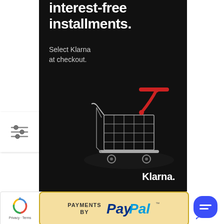[Figure (illustration): Klarna advertisement banner with dark background, shopping cart image, headline text 'interest-free installments.', subtext 'Select Klarna at checkout.', and Klarna logo]
[Figure (logo): Payments by PayPal banner with yellow/gold border and PayPal logo in blue text]
[Figure (logo): Google reCAPTCHA badge with Privacy and Terms links]
[Figure (other): Blue circular chat/message button on right side]
[Figure (other): Filter/settings slider icon overlay on left side]